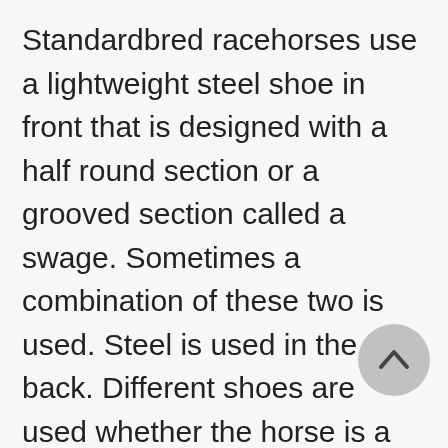Standardbred racehorses use a lightweight steel shoe in front that is designed with a half round section or a grooved section called a swage. Sometimes a combination of these two is used. Steel is used in the back. Different shoes are used whether the horse is a trotter or pacer. Horses used for hunting or jumping use a shoe similar to the keg but a bit wider. Sometimes a traction device called a stud (like cleats) is used that is screwed into the shoe before the